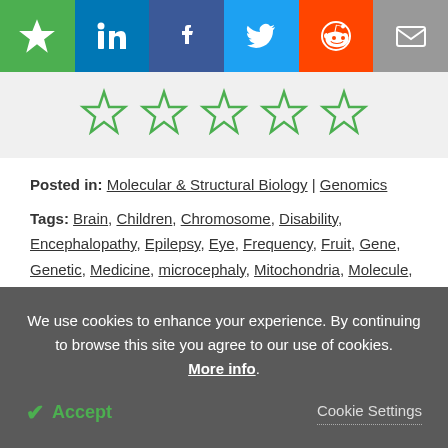Social sharing bar: Bookmark, LinkedIn, Facebook, Twitter, Reddit, Email
[Figure (other): Five empty star rating icons in green outline]
Posted in: Molecular & Structural Biology | Genomics
Tags: Brain, Children, Chromosome, Disability, Encephalopathy, Epilepsy, Eye, Frequency, Fruit, Gene, Genetic, Medicine, microcephaly, Mitochondria, Molecule, Mutation, Nerve, Neurology, Nutrients, Protein, Research, X chromosome
We use cookies to enhance your experience. By continuing to browse this site you agree to our use of cookies. More info. Accept | Cookie Settings